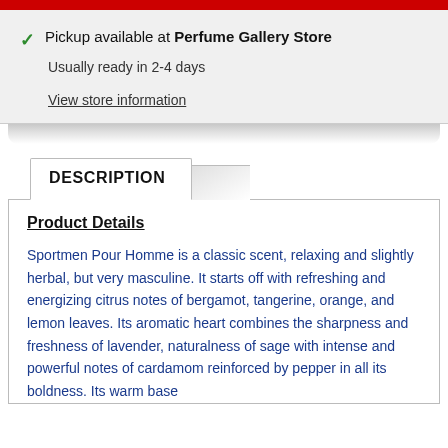Pickup available at Perfume Gallery Store
Usually ready in 2-4 days
View store information
DESCRIPTION
Product Details
Sportmen Pour Homme is a classic scent, relaxing and slightly herbal, but very masculine. It starts off with refreshing and energizing citrus notes of bergamot, tangerine, orange, and lemon leaves. Its aromatic heart combines the sharpness and freshness of lavender, naturalness of sage with intense and powerful notes of cardamom reinforced by pepper in all its boldness. Its warm base